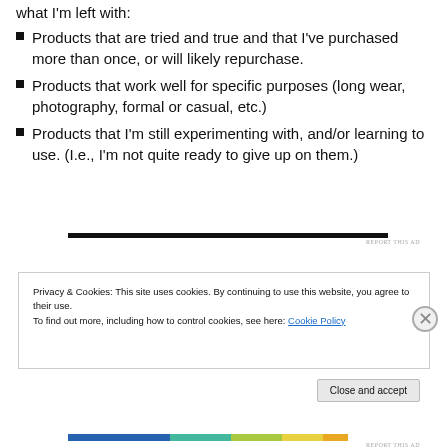what I'm left with:
Products that are tried and true and that I've purchased more than once, or will likely repurchase.
Products that work well for specific purposes (long wear, photography, formal or casual, etc.)
Products that I'm still experimenting with, and/or learning to use. (I.e., I'm not quite ready to give up on them.)
[Figure (other): Dark horizontal ad banner bar with 'REPORT THIS AD' label]
Privacy & Cookies: This site uses cookies. By continuing to use this website, you agree to their use. To find out more, including how to control cookies, see here: Cookie Policy
Close and accept
[Figure (other): Colorful horizontal bar at bottom of page with REPORT THIS AD label]